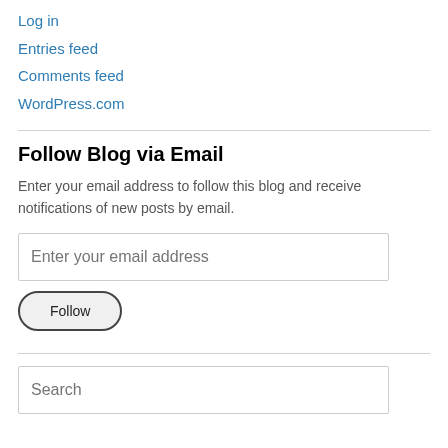Log in
Entries feed
Comments feed
WordPress.com
Follow Blog via Email
Enter your email address to follow this blog and receive notifications of new posts by email.
[Figure (screenshot): Email input field with placeholder text 'Enter your email address']
[Figure (screenshot): Follow button with oval border]
[Figure (screenshot): Search input field with placeholder text 'Search']